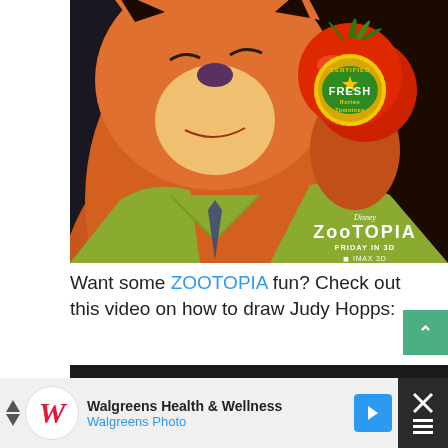[Figure (photo): Disney Zootopia movie promotional image showing Nick Wilde (cartoon fox character) in a green shirt holding a tomato with a Certified Fresh Rotten Tomatoes badge. Bottom right shows Disney Zootopia logo, 'FRIDAY IN 3D & IMAX 3D' text.]
Want some ZOOTOPIA fun? Check out this video on how to draw Judy Hopps:
[Figure (screenshot): YouTube video embed thumbnail showing 'How to Draw Judy Hopps - Zoot...' with Walt Disney channel icon on dark background with three-dot menu.]
[Figure (photo): Walgreens Health & Wellness / Walgreens Photo advertisement bar at the bottom with Walgreens logo, navigation arrow icon, and close button.]